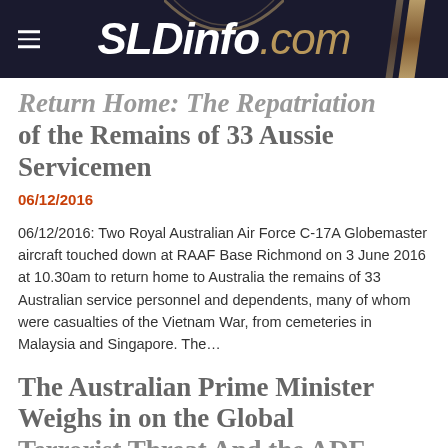SLDinfo.com
Return Home: The Repatriation of the Remains of 33 Aussie Servicemen
06/12/2016
06/12/2016: Two Royal Australian Air Force C-17A Globemaster aircraft touched down at RAAF Base Richmond on 3 June 2016 at 10.30am to return home to Australia the remains of 33 Australian service personnel and dependents, many of whom were casualties of the Vietnam War, from cemeteries in Malaysia and Singapore. The…
The Australian Prime Minister Weighs in on the Global Terrorist Threat And the ADF…